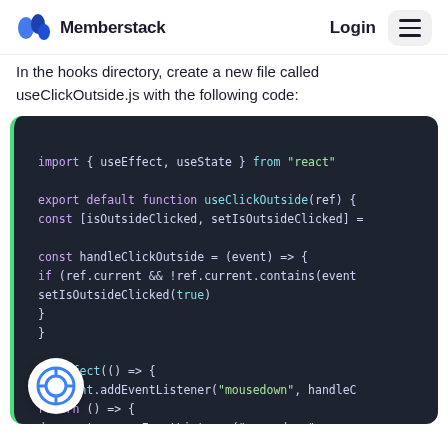Memberstack | Login
In the hooks directory, create a new file called useClickOutside.js with the following code:
[Figure (screenshot): Code block showing JavaScript code for useClickOutside hook using React's useEffect and useState, with dark background and syntax highlighting]